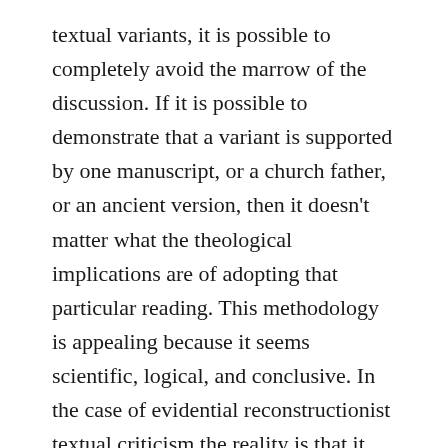textual variants, it is possible to completely avoid the marrow of the discussion. If it is possible to demonstrate that a variant is supported by one manuscript, or a church father, or an ancient version, then it doesn't matter what the theological implications are of adopting that particular reading. This methodology is appealing because it seems scientific, logical, and conclusive. In the case of evidential reconstructionist textual criticism the reality is that it merely has the form of science, but not any sort of real power. In other words, it is completely, and utterly, arbitrary. Let me explain.
Let's just say, for the sake of argument, that modern reconstructionist textual criticism is consistent in its methodology – which it is plainly not. At one reading, they appeal to one standard, and at another they appeal